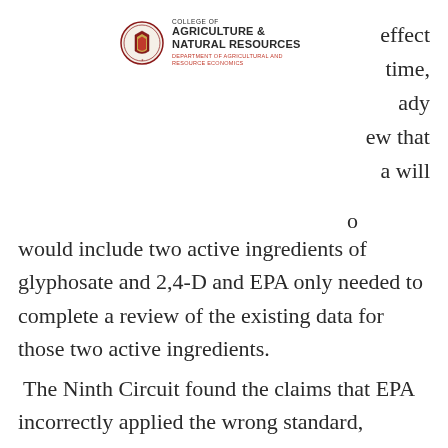[Figure (logo): University of Maryland College of Agriculture & Natural Resources, Department of Agricultural and Resource Economics logo with seal]
effect
time,
ady
ew that
a will
o
would include two active ingredients of glyphosate and 2,4-D and EPA only needed to complete a review of the existing data for those two active ingredients.
The Ninth Circuit found the claims that EPA incorrectly applied the wrong standard, conditional instead of unconditional, to be unpersuasive. First, the group raising the claim had never raised it during the administrative